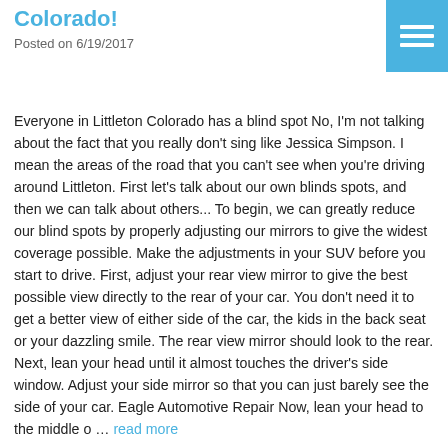Colorado!
Posted on 6/19/2017
[Figure (other): Hamburger menu icon — three white horizontal lines on a blue square background]
Everyone in Littleton Colorado has a blind spot No, I'm not talking about the fact that you really don't sing like Jessica Simpson. I mean the areas of the road that you can't see when you're driving around Littleton. First let's talk about our own blinds spots, and then we can talk about others... To begin, we can greatly reduce our blind spots by properly adjusting our mirrors to give the widest coverage possible. Make the adjustments in your SUV before you start to drive. First, adjust your rear view mirror to give the best possible view directly to the rear of your car. You don't need it to get a better view of either side of the car, the kids in the back seat or your dazzling smile. The rear view mirror should look to the rear. Next, lean your head until it almost touches the driver's side window. Adjust your side mirror so that you can just barely see the side of your car. Eagle Automotive Repair Now, lean your head to the middle o … read more